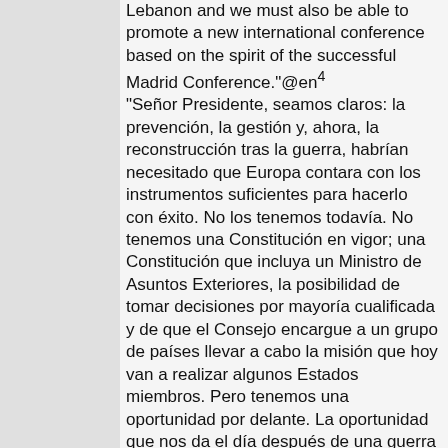Lebanon and we must also be able to promote a new international conference based on the spirit of the successful Madrid Conference."@en⁴ "Señor Presidente, seamos claros: la prevención, la gestión y, ahora, la reconstrucción tras la guerra, habrían necesitado que Europa contara con los instrumentos suficientes para hacerlo con éxito. No los tenemos todavía. No tenemos una Constitución en vigor; una Constitución que incluya un Ministro de Asuntos Exteriores, la posibilidad de tomar decisiones por mayoría cualificada y de que el Consejo encargue a un grupo de países llevar a cabo la misión que hoy van a realizar algunos Estados miembros. Pero tenemos una oportunidad por delante. La oportunidad que nos da el día después de una guerra brutal.